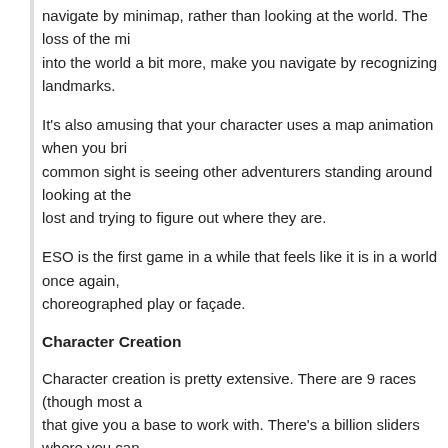navigate by minimap, rather than looking at the world. The loss of the mi... into the world a bit more, make you navigate by recognizing landmarks.
It's also amusing that your character uses a map animation when you bri... common sight is seeing other adventurers standing around looking at the... lost and trying to figure out where they are.
ESO is the first game in a while that feels like it is in a world once again,... choreographed play or façade.
Character Creation
Character creation is pretty extensive. There are 9 races (though most a... that give you a base to work with. There's a billion sliders where you can... shape.
I'm beginning to hate these slider-based character creators. I'm terrible w... make a decent-looking character. I'll get something that is not bad, but th... just looks worse and worse.
Sadly, I'm beginning to look at extensive character creators as a negative... are much better than me at this sort of stuff, and I would prefer to leverag...
Basics